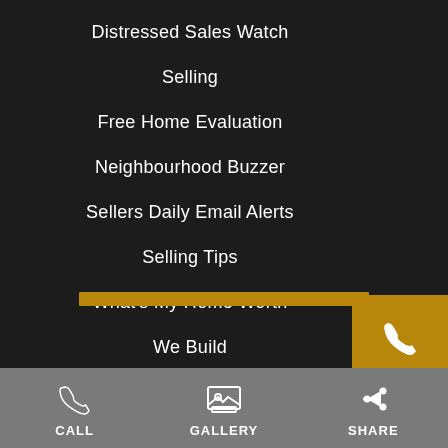Distressed Sales Watch
Selling
Free Home Evaluation
Neighbourhood Buzzer
Sellers Daily Email Alerts
Selling Tips
What's My Home Worth
We Build
[Figure (screenshot): Phone call button — gold square with white phone icon]
[Figure (screenshot): Email button — gold square with white @ icon]
[Figure (screenshot): Golden decorative bar near bottom]
CALL   GALLERY   SHARE